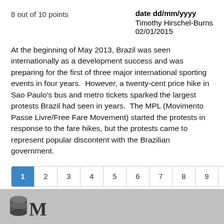8 out of 10 points
date dd/mm/yyyy
Timothy Hirschel-Burns
02/01/2015
At the beginning of May 2013, Brazil was seen internationally as a development success and was preparing for the first of three major international sporting events in four years.  However, a twenty-cent price hike in Sao Paulo's bus and metro tickets sparked the largest protests Brazil had seen in years.  The MPL (Movimento Passe Livre/Free Fare Movement) started the protests in response to the fare hikes, but the protests came to represent popular discontent with the Brazilian government.
M (logo/icon area)